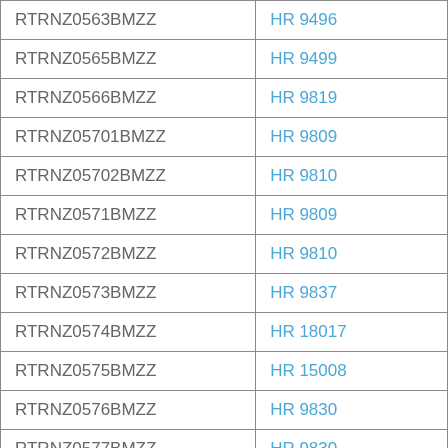| Code | Reference |
| --- | --- |
| RTRNZ0563BMZZ | HR 9496 |
| RTRNZ0565BMZZ | HR 9499 |
| RTRNZ0566BMZZ | HR 9819 |
| RTRNZ05701BMZZ | HR 9809 |
| RTRNZ05702BMZZ | HR 9810 |
| RTRNZ0571BMZZ | HR 9809 |
| RTRNZ0572BMZZ | HR 9810 |
| RTRNZ0573BMZZ | HR 9837 |
| RTRNZ0574BMZZ | HR 18017 |
| RTRNZ0575BMZZ | HR 15008 |
| RTRNZ0576BMZZ | HR 9830 |
| RTRNZ0577BMZZ | HR 9830 |
| RTRNZ0578BMZZ | HR 9830 |
| RTRNZ0582BMZZ | HR 9848 |
| RTRNZ0583BMZZ | HR 15018 |
| RTRNZ0586BMZZ | HR 15020 |